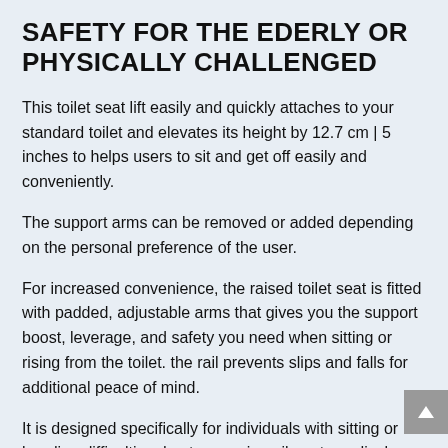SAFETY FOR THE EDERLY OR PHYSICALLY CHALLENGED
This toilet seat lift easily and quickly attaches to your standard toilet and elevates its height by 12.7 cm | 5 inches to helps users to sit and get off easily and conveniently.
The support arms can be removed or added depending on the personal preference of the user.
For increased convenience, the raised toilet seat is fitted with padded, adjustable arms that gives you the support boost, leverage, and safety you need when sitting or rising from the toilet. the rail prevents slips and falls for additional peace of mind.
It is designed specifically for individuals with sitting or bending difficulties due to an aging ailment, medical ops or sports injury. Its unique